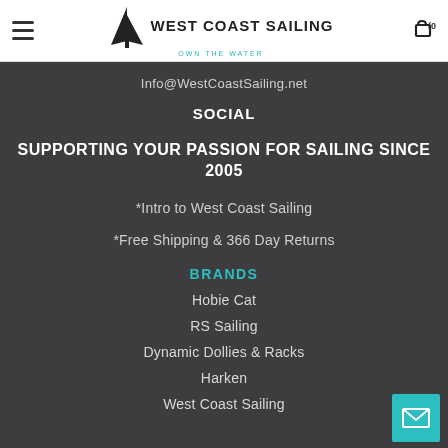West Coast Sailing — OWN THE WATER
Info@WestCoastSailing.net
SOCIAL
SUPPORTING YOUR PASSION FOR SAILING SINCE 2005
*Intro to West Coast Sailing
*Free Shipping & 366 Day Returns
BRANDS
Hobie Cat
RS Sailing
Dynamic Dollies & Racks
Harken
West Coast Sailing